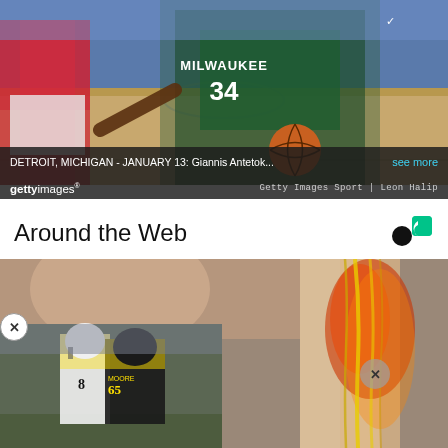[Figure (photo): Basketball game photo: Milwaukee Bucks player #34 Giannis Antetokounmpo holding a ball and gesturing, with opposing players in red/white uniforms in the background on an indoor court.]
DETROIT, MICHIGAN - JANUARY 13: Giannis Antetok... see more
gettyimages® Getty Images Sport | Leon Halip
Around the Web
[Figure (photo): Medical illustration of leg anatomy showing muscle/tendon tissue highlighted in red and orange, next to an overlapping photo of Pittsburgh Steelers players including #65 and #8 in action.]